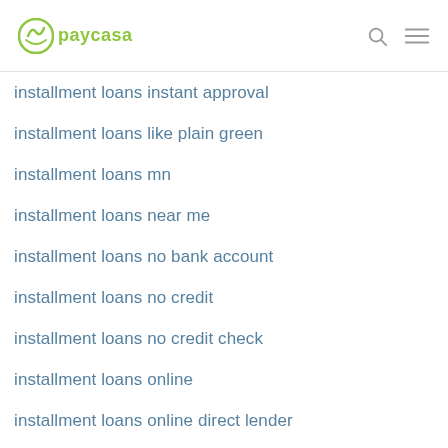paycasa
installment loans instant approval
installment loans like plain green
installment loans mn
installment loans near me
installment loans no bank account
installment loans no credit
installment loans no credit check
installment loans online
installment loans online direct lender
installment loans online same day
installment loans pa
installment loans with bad credit